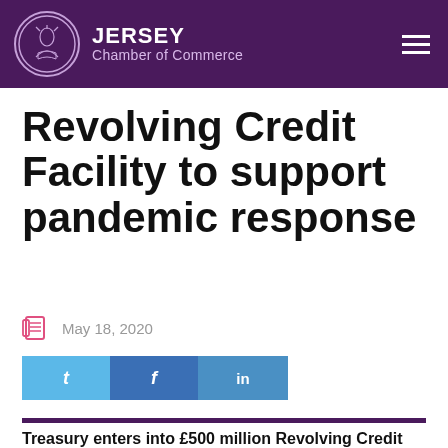JERSEY Chamber of Commerce
Revolving Credit Facility to support pandemic response
May 18, 2020
[Figure (other): Social share buttons: Twitter (t), Facebook (f), LinkedIn (in)]
Treasury enters into £500 million Revolving Credit Facility to support pandemic response
The Government of Jersey is continuing to...